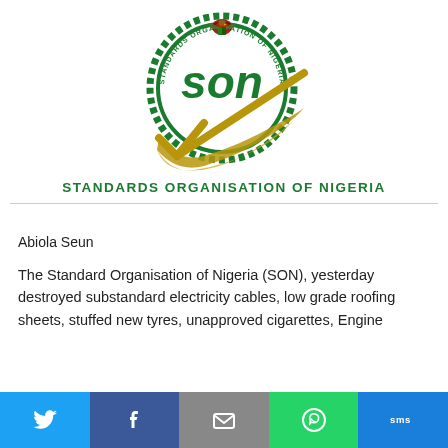[Figure (logo): Standards Organisation of Nigeria (SON) logo — green circular emblem with eagle crest at top, 'son' in stylized green letters in center, gold checkmark swoosh at bottom.]
STANDARDS ORGANISATION OF NIGERIA
Abiola Seun
The Standard Organisation of Nigeria (SON), yesterday destroyed substandard electricity cables, low grade roofing sheets, stuffed new tyres, unapproved cigarettes, Engine